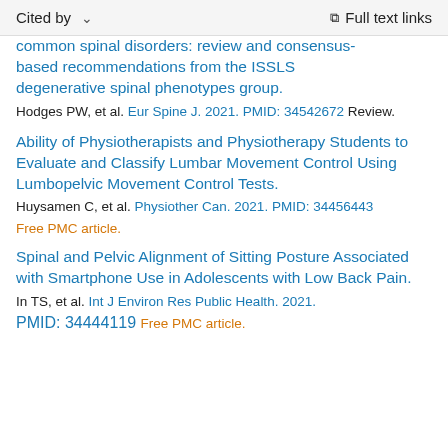Cited by   ∨   Full text links
common spinal disorders: review and consensus-based recommendations from the ISSLS degenerative spinal phenotypes group.
Hodges PW, et al. Eur Spine J. 2021. PMID: 34542672 Review.
Ability of Physiotherapists and Physiotherapy Students to Evaluate and Classify Lumbar Movement Control Using Lumbopelvic Movement Control Tests.
Huysamen C, et al. Physiother Can. 2021. PMID: 34456443
Free PMC article.
Spinal and Pelvic Alignment of Sitting Posture Associated with Smartphone Use in Adolescents with Low Back Pain.
In TS, et al. Int J Environ Res Public Health. 2021.
PMID: 34444119 Free PMC article.